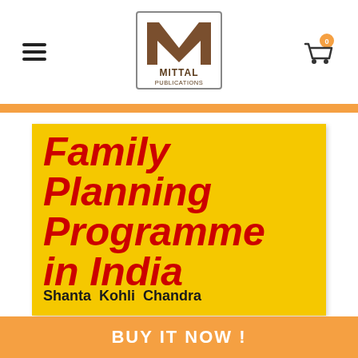[Figure (logo): Mittal Publications logo — stylized M in brown inside a square border, with 'MITTAL PUBLICATIONS' text below]
[Figure (photo): Book cover of 'Family Planning Programme in India' by Shanta Kohli Chandra on a yellow background with bold red italic title text]
Family Planning Programme in India
Shanta Kohli Chandra
BUY IT NOW !